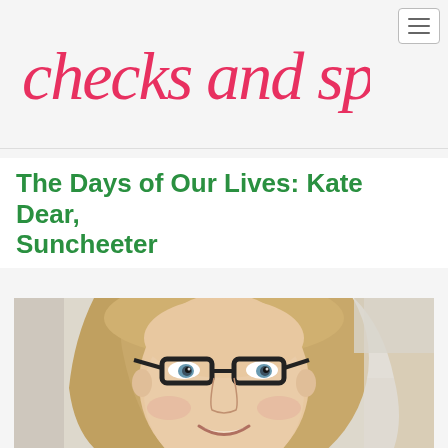checks and spots
The Days of Our Lives: Kate Dear, Suncheeter
[Figure (photo): A woman with long blonde hair and dark-framed glasses, taking a selfie in a car. She is smiling.]